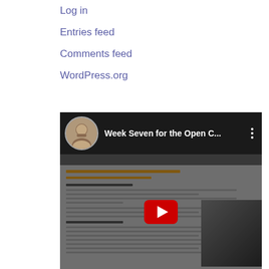Log in
Entries feed
Comments feed
WordPress.org
[Figure (screenshot): YouTube video thumbnail showing 'Week Seven for the Open C...' with a circular avatar of a man with beard, a dark video preview showing a webpage about 'Wrap Up' and 'Summarize' sections, with a red YouTube play button in the center.]